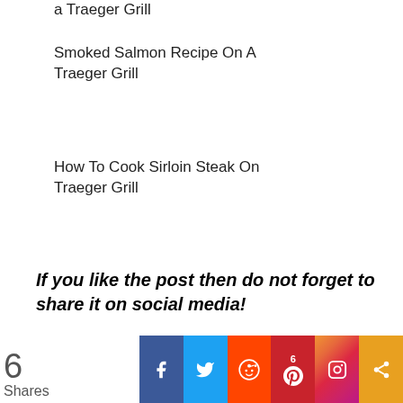a Traeger Grill
Smoked Salmon Recipe On A Traeger Grill
How To Cook Sirloin Steak On Traeger Grill
If you like the post then do not forget to share it on social media!
[Figure (infographic): Social media share bar with share count of 6, Facebook, Twitter, Reddit, Pinterest (6), Instagram, and generic share buttons]